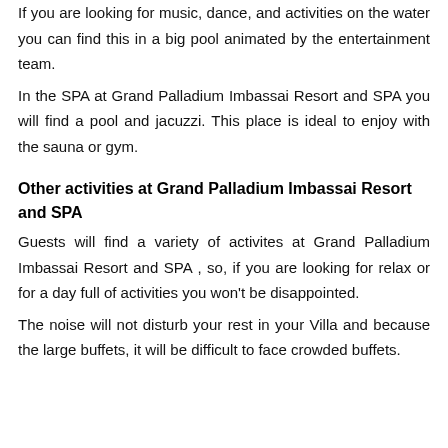If you are looking for music, dance, and activities on the water you can find this in a big pool animated by the entertainment team.
In the SPA at Grand Palladium Imbassai Resort and SPA you will find a pool and jacuzzi. This place is ideal to enjoy with the sauna or gym.
Other activities at Grand Palladium Imbassai Resort and SPA
Guests will find a variety of activites at Grand Palladium Imbassai Resort and SPA , so, if you are looking for relax or for a day full of activities you won't be disappointed.
The noise will not disturb your rest in your Villa and because the large buffets, it will be difficult to face crowded buffets.